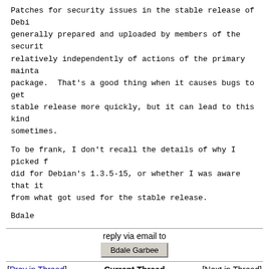Patches for security issues in the stable release of Debian are generally prepared and uploaded by members of the security team relatively independently of actions of the primary maintainer of the package. That's a good thing when it causes bugs to get fixed in the stable release more quickly, but it can lead to this kind of issue sometimes.
To be frank, I don't recall the details of why I picked the patch I did for Debian's 1.3.5-15, or whether I was aware that it was different from what got used for the stable release.
Bdale
reply via email to
Bdale Garbee
[Prev in Thread]
Current Thread
[Next in Thread]
CVE 2006 4334 taken care of in 1.3.7+ ?, Mike Frysinger, 2006/12/07
Re: CVE 2006 4334 taken care of in 1.3.7+ ?, Paul Eqqert, 2006/12/07